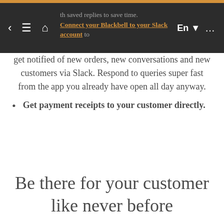th saved replies to save time. Connect your Blackbell to your Slack account to get notified of new orders, new conversations and new customers via Slack. Respond to queries super fast from the app you already have open all day anyway.
Get payment receipts to your customer directly.
Be there for your customer like never before